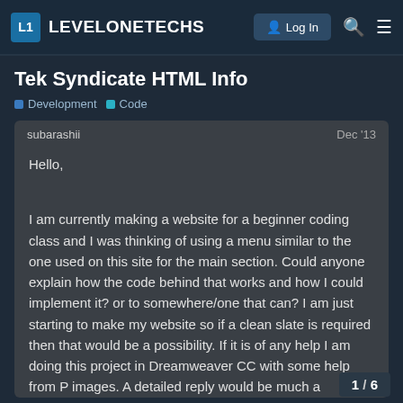L1 LEVELONETECHS | Log In
Tek Syndicate HTML Info
Development  Code
subarashii  Dec '13
Hello,
I am currently making a website for a beginner coding class and I was thinking of using a menu similar to the one used on this site for the main section. Could anyone explain how the code behind that works and how I could implement it? or to somewhere/one that can? I am just starting to make my website so if a clean slate is required then that would be a possibility. If it is of any help I am doing this project in Dreamweaver CC with some help from P images. A detailed reply would be much a
1 / 6